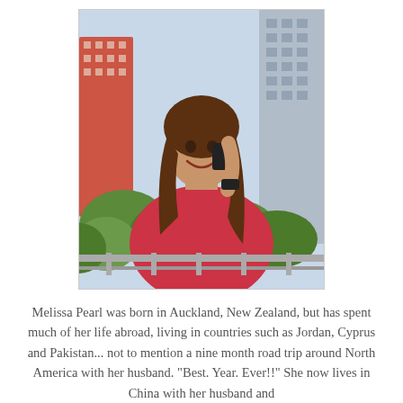[Figure (photo): A woman with long brown hair wearing a red sleeveless top, holding a phone to her ear, smiling, photographed outdoors on a balcony with trees and tall buildings in the background.]
Melissa Pearl was born in Auckland, New Zealand, but has spent much of her life abroad, living in countries such as Jordan, Cyprus and Pakistan... not to mention a nine month road trip around North America with her husband. "Best. Year. Ever!!" She now lives in China with her husband and